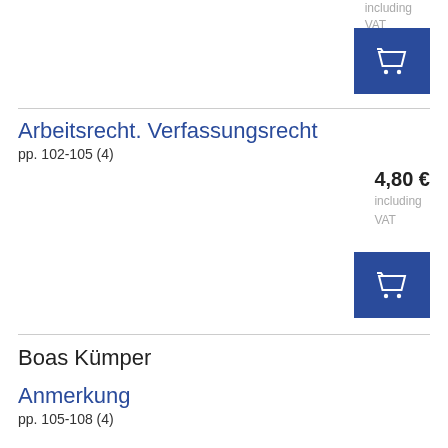including
VAT
[Figure (other): Blue shopping cart button]
Arbeitsrecht. Verfassungsrecht
pp. 102-105 (4)
4,80 €
including
VAT
[Figure (other): Blue shopping cart button]
Boas Kümper
Anmerkung
pp. 105-108 (4)